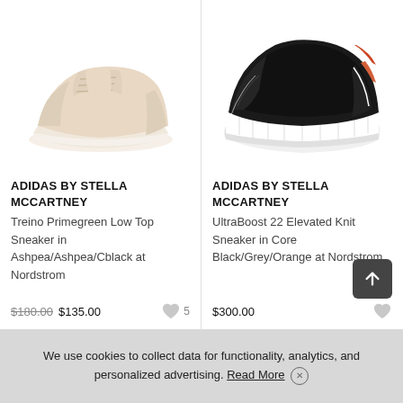[Figure (photo): Partial view of beige/nude low-top sneaker from Adidas by Stella McCartney, shown from above/side angle on white background]
[Figure (photo): Partial view of black UltraBoost sneaker from Adidas by Stella McCartney with white chunky sole on white background]
ADIDAS BY STELLA MCCARTNEY
Treino Primegreen Low Top Sneaker in Ashpea/Ashpea/Cblack at Nordstrom
$180.00 $135.00
ADIDAS BY STELLA MCCARTNEY
UltraBoost 22 Elevated Knit Sneaker in Core Black/Grey/Orange at Nordstrom
$300.00
We use cookies to collect data for functionality, analytics, and personalized advertising. Read More